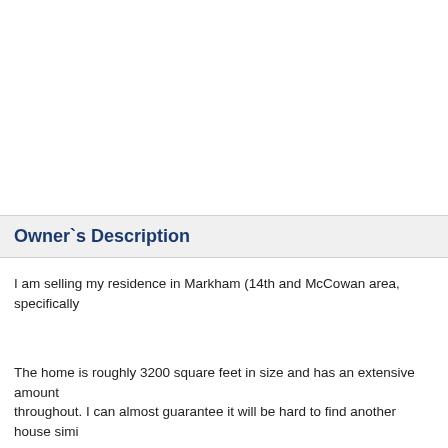Owner`s Description
I am selling my residence in Markham (14th and McCowan area, specifically
The home is roughly 3200 square feet in size and has an extensive amount throughout. I can almost guarantee it will be hard to find another house simi
My primary intent behind selling is because I am planning on moving to the my work takes place there.